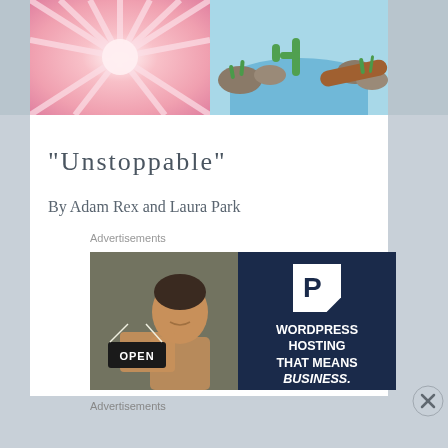[Figure (illustration): Two images side by side at top: left shows pink radiant light/burst illustration, right shows colorful nature scene with rocks, cactus, water, and a log]
“Unstoppable”
By Adam Rex and Laura Park
Advertisements
[Figure (photo): Advertisement banner: left half shows a woman smiling and holding an OPEN sign in a shop window; right half is dark blue with a white 'P' logo and text reading 'WORDPRESS HOSTING THAT MEANS BUSINESS.']
Advertisements